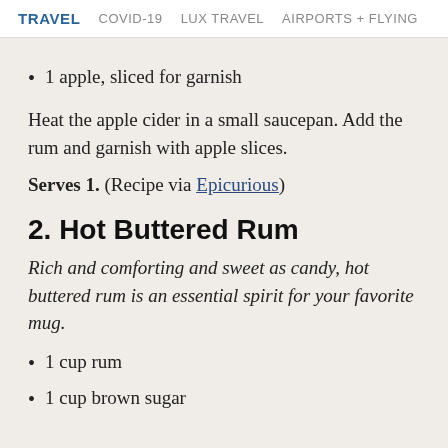TRAVEL   COVID-19   LUX TRAVEL   AIRPORTS + FLYING
1 apple, sliced for garnish
Heat the apple cider in a small saucepan. Add the rum and garnish with apple slices.
Serves 1. (Recipe via Epicurious)
2. Hot Buttered Rum
Rich and comforting and sweet as candy, hot buttered rum is an essential spirit for your favorite mug.
1 cup rum
1 cup brown sugar